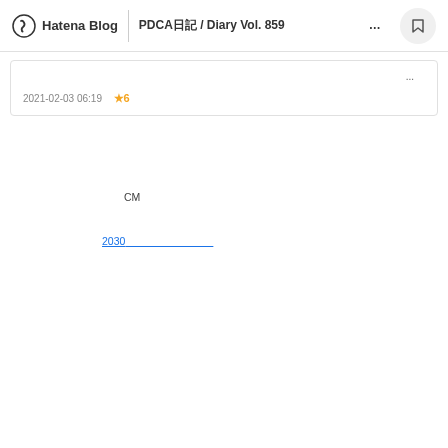Hatena Blog | PDCA日記 / Diary Vol. 859　　　　　　　　　　　　　　...
...
2021-02-03 06:19  ★6
CM
2030